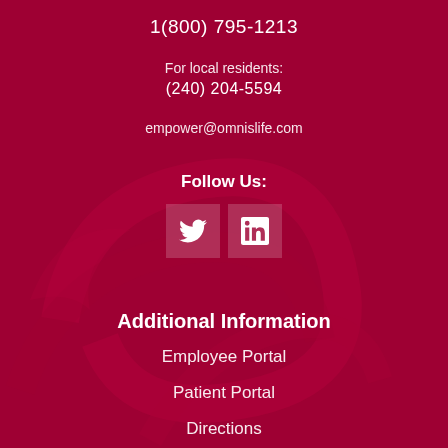1(800) 795-1213
For local residents:
(240) 204-5594
empower@omnislife.com
Follow Us:
[Figure (other): Twitter and LinkedIn social media icons]
Additional Information
Employee Portal
Patient Portal
Directions